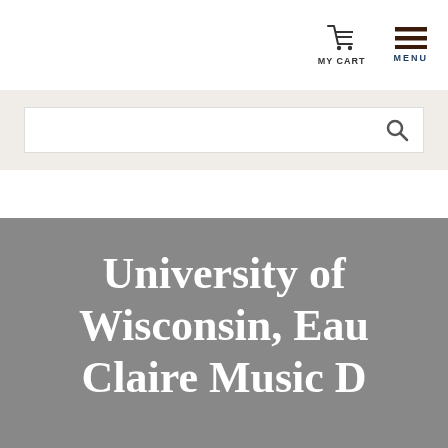MY CART | MENU
[Figure (screenshot): Search bar with magnifying glass icon on light beige background]
University of Wisconsin, Eau Claire Music Department